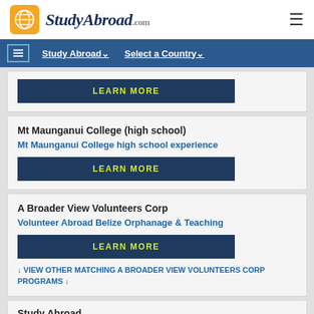StudyAbroad.com
Study Abroad | Select a Country
LEARN MORE
Mt Maunganui College (high school)
Mt Maunganui College high school experience
LEARN MORE
A Broader View Volunteers Corp
Volunteer Abroad Belize Orphanage & Teaching
LEARN MORE
↓ VIEW OTHER MATCHING A BROADER VIEW VOLUNTEERS CORP PROGRAMS ↓
Study Abroad...